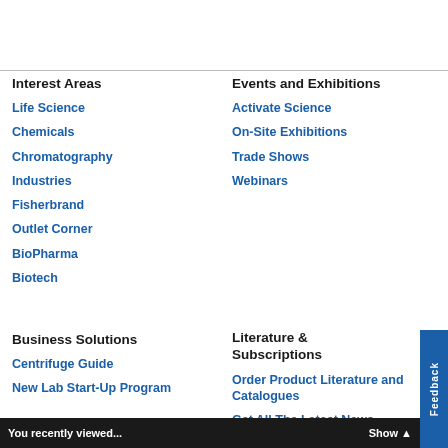Interest Areas
Life Science
Chemicals
Chromatography
Industries
Fisherbrand
Outlet Corner
BioPharma
Biotech
Events and Exhibitions
Activate Science
On-Site Exhibitions
Trade Shows
Webinars
Business Solutions
Centrifuge Guide
New Lab Start-Up Program
Literature & Subscriptions
Order Product Literature and Catalogues
Get All The Latest News
You recently viewed...   Show